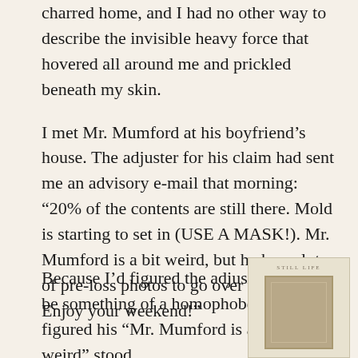charred home, and I had no other way to describe the invisible heavy force that hovered all around me and prickled beneath my skin.
I met Mr. Mumford at his boyfriend's house. The adjuster for his claim had sent me an advisory e-mail that morning: “20% of the contents are still there. Mold is starting to set in (USE A MASK!). Mr. Mumford is a bit weird, but he has a lot of pre-loss photos to go over with you. Enjoy your weekend!”
Because I’d figured the adjuster to be something of a homophobe, I figured his “Mr. Mumford is a bit weird” stood
[Figure (illustration): Book cover image showing 'STILL LIFE' title text at top and a framed picture or doorway below, set against a light beige/tan background]